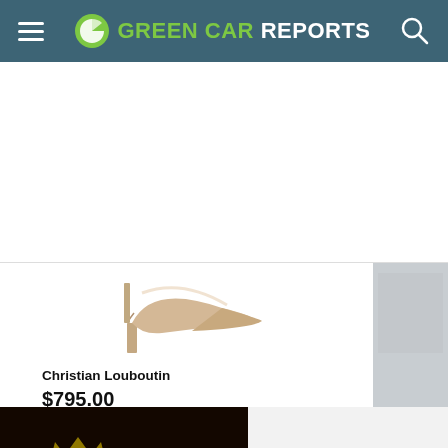GREEN CAR REPORTS
[Figure (screenshot): Partial product card showing a Christian Louboutin high-heel shoe with price starting $795.00]
Christian Louboutin
$795.00
[Figure (screenshot): Video advertisement overlay showing animated game character with play button]
All it takes is ONE hit.